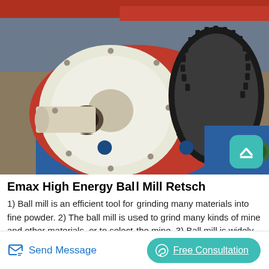[Figure (photo): Industrial ball mill machinery with large red and white rotating drum, black gear ring, blue support frame, in a factory setting.]
Emax High Energy Ball Mill Retsch
1) Ball mill is an efficient tool for grinding many materials into fine powder. 2) The ball mill is used to grind many kinds of mine and other materials, or to select the mine. 3) Ball mill is widely used in building material, and chemical industry. 4) There are two ways of grinding the dry way and the wet way.RETSCH is the world leading